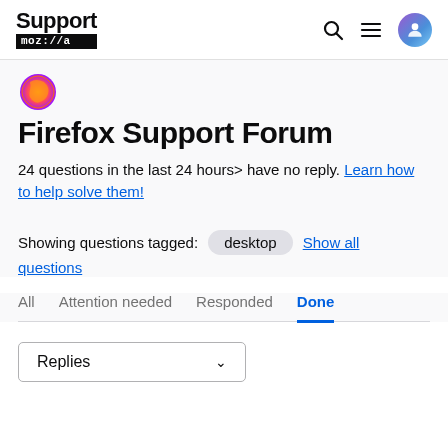Support moz://a
[Figure (logo): Firefox browser logo (flame wrapped around globe)]
Firefox Support Forum
24 questions in the last 24 hours> have no reply. Learn how to help solve them!
Showing questions tagged: desktop  Show all questions
All  Attention needed  Responded  Done
Replies